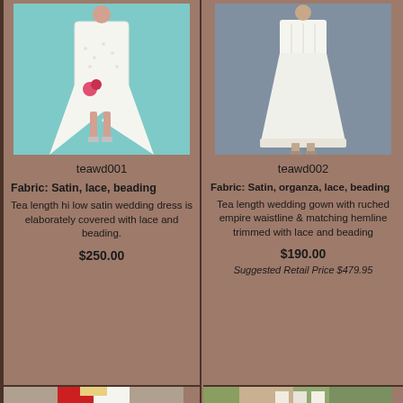[Figure (photo): Woman wearing a white tea length hi-low satin wedding dress with lace and beading, holding a pink bouquet, against a teal background]
teawd001
Fabric:  Satin, lace, beading
Tea length hi low satin wedding dress is elaborately covered with lace and beading.
$250.00
[Figure (photo): Woman wearing a white tea length wedding gown with ruched empire waistline and matching hemline trimmed with lace and beading, against a blue-grey background]
teawd002
Fabric:  Satin, organza, lace, beading
Tea length wedding gown with ruched empire waistline & matching hemline trimmed with lace and beading
$190.00
Suggested Retail Price $479.95
[Figure (photo): Partial view of a red and white wedding dress on a hanger with a blonde woman visible]
[Figure (photo): Partial view of women in wedding attire outdoors near trees]